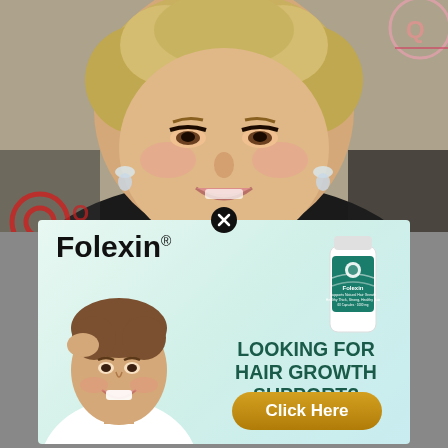[Figure (photo): Background photo of a smiling middle-aged blonde woman with curly hair and drop earrings, at a red carpet event with a partial logo visible in the background]
[Figure (infographic): Folexin hair growth supplement advertisement showing a smiling young man touching his hair, a bottle of Folexin supplement, the brand name 'Folexin®', text 'LOOKING FOR HAIR GROWTH SUPPORT?' and a gold 'Click Here' button]
Folexin®
LOOKING FOR HAIR GROWTH SUPPORT?
Click Here